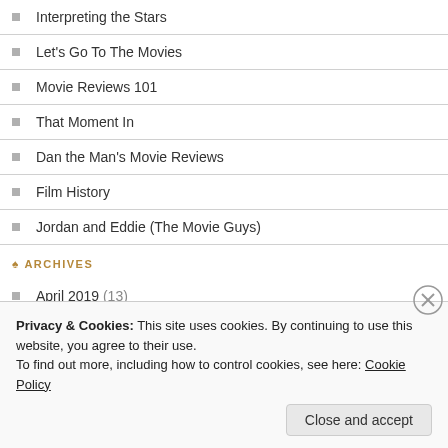Interpreting the Stars
Let's Go To The Movies
Movie Reviews 101
That Moment In
Dan the Man's Movie Reviews
Film History
Jordan and Eddie (The Movie Guys)
ARCHIVES
April 2019 (13)
March 2019 (28)
Privacy & Cookies: This site uses cookies. By continuing to use this website, you agree to their use.
To find out more, including how to control cookies, see here: Cookie Policy
Close and accept